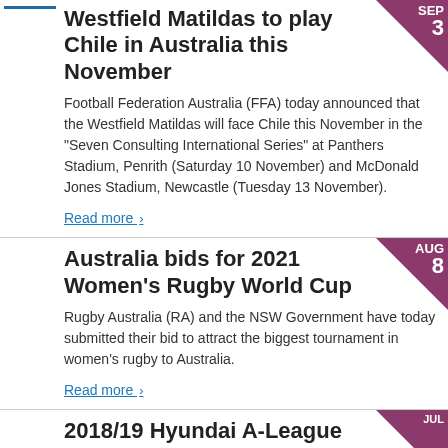Westfield Matildas to play Chile in Australia this November
Football Federation Australia (FFA) today announced that the Westfield Matildas will face Chile this November in the “Seven Consulting International Series” at Panthers Stadium, Penrith (Saturday 10 November) and McDonald Jones Stadium, Newcastle (Tuesday 13 November).
Read more ›
Australia bids for 2021 Women’s Rugby World Cup
Rugby Australia (RA) and the NSW Government have today submitted their bid to attract the biggest tournament in women’s rugby to Australia.
Read more ›
2018/19 Hyundai A-League